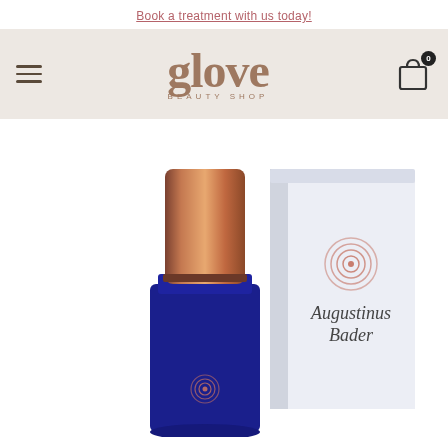Book a treatment with us today!
[Figure (logo): Glove Beauty Shop logo with hamburger menu icon on left and shopping cart with 0 badge on right, on a beige/cream background]
[Figure (photo): Augustinus Bader skincare product: a dark blue glass bottle with copper/rose gold cap, alongside its white product box featuring the brand's spiral logo and 'Augustinus Bader' text]